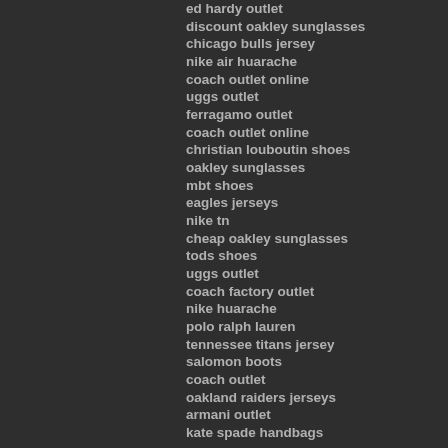ed hardy outlet
discount oakley sunglasses
chicago bulls jersey
nike air huarache
coach outlet online
uggs outlet
ferragamo outlet
coach outlet online
christian louboutin shoes
oakley sunglasses
mbt shoes
eagles jerseys
nike tn
cheap oakley sunglasses
tods shoes
uggs outlet
coach factory outlet
nike huarache
polo ralph lauren
tennessee titans jersey
salomon boots
coach outlet
oakland raiders jerseys
armani outlet
kate spade handbags